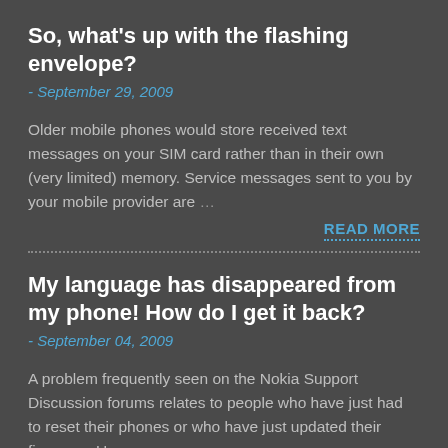So, what's up with the flashing envelope?
- September 29, 2009
Older mobile phones would store received text messages on your SIM card rather than in their own (very limited) memory. Service messages sent to you by your mobile provider are …
READ MORE
My language has disappeared from my phone! How do I get it back?
- September 04, 2009
A problem frequently seen on the Nokia Support Discussion forums relates to people who have just had to reset their phones or who have just updated their firmware. Upon …